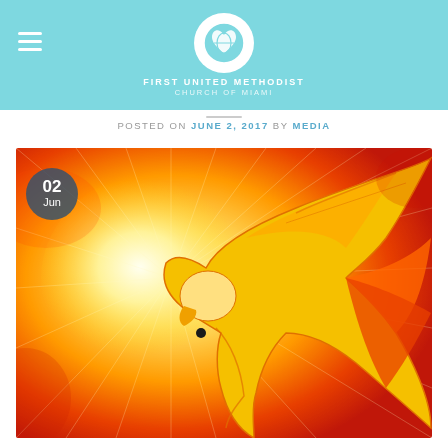FIRST UNITED METHODIST CHURCH OF MIAMI
POSTED ON JUNE 2, 2017 BY MEDIA
[Figure (illustration): Artistic illustration of a dove formed from warm flame-like swirls in orange, red, and yellow tones, radiating light outward. A date badge '02 Jun' is overlaid on the upper-left corner.]